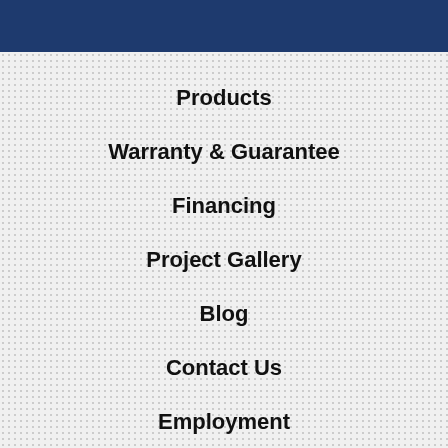Products
Warranty & Guarantee
Financing
Project Gallery
Blog
Contact Us
Employment